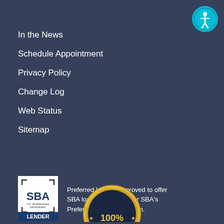[Figure (logo): Accessibility icon button - teal circle with white person/wheelchair accessibility symbol]
In the News
Schedule Appointment
Privacy Policy
Change Log
Web Status
Sitemap
[Figure (logo): SBA U.S. Small Business Administration Lender logo - white box with SBA logo and LENDER text]
Preferred Lender Approved to offer SBA loan products under SBA's Preferred Lender Program.
[Figure (logo): Signature Bank 100% badge - circular gold seal with dark center and star decorations]